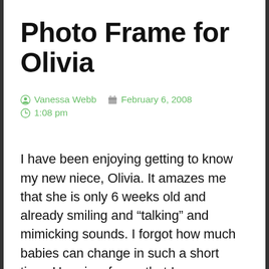Photo Frame for Olivia
Vanessa Webb  February 6, 2008  1:08 pm
I have been enjoying getting to know my new niece, Olivia. It amazes me that she is only 6 weeks old and already smiling and “talking” and mimicking sounds. I forgot how much babies can change in such a short time. Here is a frame that I